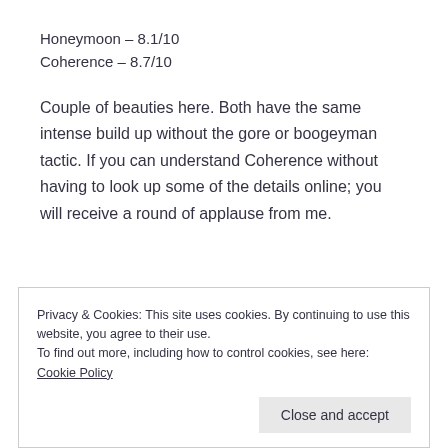Honeymoon – 8.1/10
Coherence – 8.7/10
Couple of beauties here. Both have the same intense build up without the gore or boogeyman tactic. If you can understand Coherence without having to look up some of the details online; you will receive a round of applause from me.
Privacy & Cookies: This site uses cookies. By continuing to use this website, you agree to their use.
To find out more, including how to control cookies, see here: Cookie Policy
Close and accept